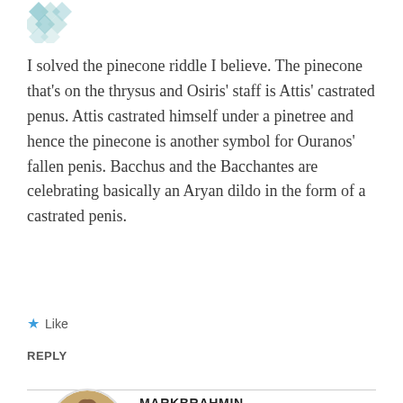[Figure (logo): Decorative avatar/logo icon made of geometric diamond shapes in teal/gray at top left]
I solved the pinecone riddle I believe. The pinecone that's on the thrysus and Osiris' staff is Attis' castrated penus. Attis castrated himself under a pinetree and hence the pinecone is another symbol for Ouranos' fallen penis. Bacchus and the Bacchantes are celebrating basically an Aryan dildo in the form of a castrated penis.
★ Like
REPLY
MARKBRAHMIN
September 8, 2019 at 12:29 am